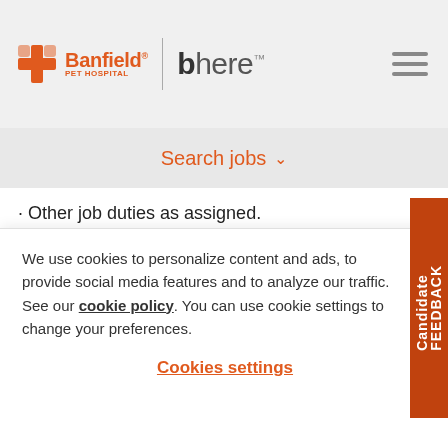Banfield Pet Hospital | bhere
Search jobs
· Other job duties as assigned.
THE FIVE PRINCIPLES
Quality – The consumer is our boss, quality...
We use cookies to personalize content and ads, to provide social media features and to analyze our traffic. See our cookie policy. You can use cookie settings to change your preferences.
Cookies settings